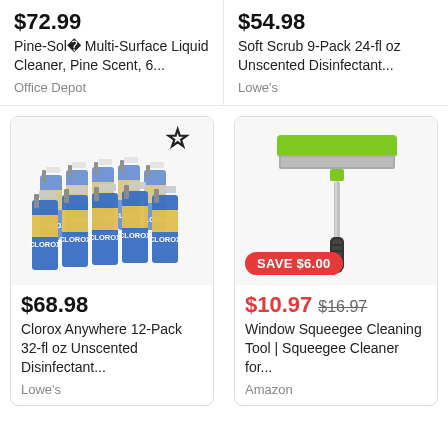$72.99
Pine-Sol® Multi-Surface Liquid Cleaner, Pine Scent, 6...
Office Depot
$54.98
Soft Scrub 9-Pack 24-fl oz Unscented Disinfectant...
Lowe's
[Figure (photo): Multiple Clorox spray bottles arranged in a bulk pack, blue and white bottles with yellow accents]
$68.98
Clorox Anywhere 12-Pack 32-fl oz Unscented Disinfectant...
Lowe's
[Figure (photo): Green and black window squeegee cleaning tool with silver handle]
SAVE $6.00
$10.97
$16.97
Window Squeegee Cleaning Tool | Squeegee Cleaner for...
Amazon